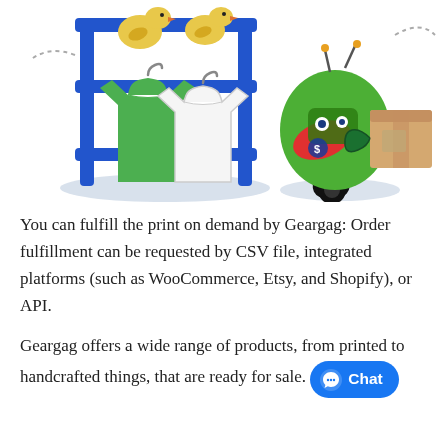[Figure (illustration): Left: illustration of a clothing rack with two rubber ducks on top and two t-shirts (one green, one white) hanging from it, with a blue ellipse shadow below. Right: illustration of a green robot character holding a cardboard box, with a black wheel/spiral base and a shadow below.]
You can fulfill the print on demand by Geargag: Order fulfillment can be requested by CSV file, integrated platforms (such as WooCommerce, Etsy, and Shopify), or API.
Geargag offers a wide range of products, from printed to handcrafted things, that are ready for sale. [Chat button]